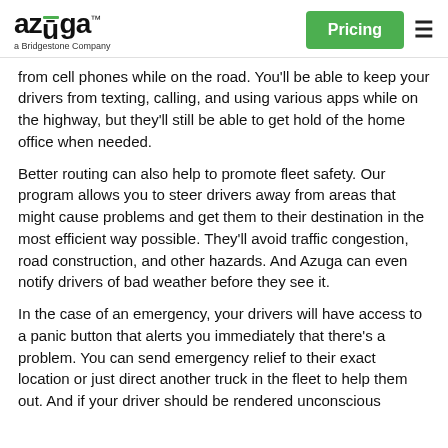azuga a Bridgestone Company | Pricing
from cell phones while on the road. You'll be able to keep your drivers from texting, calling, and using various apps while on the highway, but they'll still be able to get hold of the home office when needed.
Better routing can also help to promote fleet safety. Our program allows you to steer drivers away from areas that might cause problems and get them to their destination in the most efficient way possible. They'll avoid traffic congestion, road construction, and other hazards. And Azuga can even notify drivers of bad weather before they see it.
In the case of an emergency, your drivers will have access to a panic button that alerts you immediately that there's a problem. You can send emergency relief to their exact location or just direct another truck in the fleet to help them out. And if your driver should be rendered unconscious